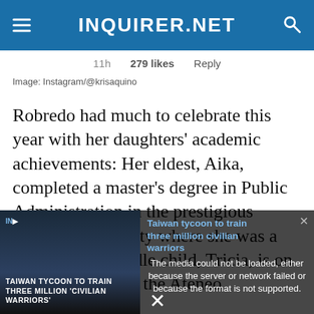INQUIRER.NET
11h   279 likes   Reply
Image: Instagram/@krisaquino
Robredo had much to celebrate this year with her daughters' academic achievements: Her eldest, Aika, completed a master's degree in Public Administration in the prestigious Harvard University where she was a scholar. Her middle child, Tricia, is on her senior year at the Ateneo
[Figure (screenshot): Video player overlay showing error message 'The media could not be loaded, either because the server or network failed or because the format is not supported.' with thumbnail of Taiwan tycoon story and close button]